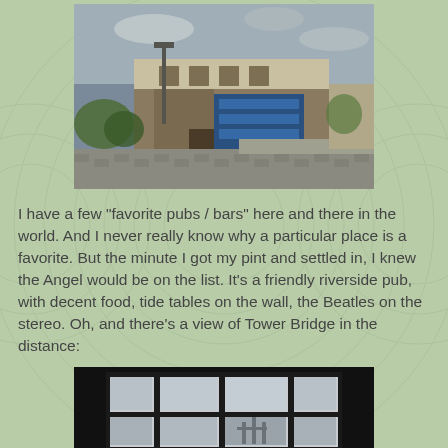[Figure (photo): Exterior photograph of a brick pub/bar building on a street corner, with blue signage, a lamppost, and cobblestones in the foreground under a partly cloudy sky.]
I have a few "favorite pubs / bars" here and there in the world. And I never really know why a particular place is a favorite. But the minute I got my pint and settled in, I knew the Angel would be on the list. It's a friendly riverside pub, with decent food, tide tables on the wall, the Beatles on the stereo. Oh, and there's a view of Tower Bridge in the distance:
[Figure (photo): Dark interior photograph looking through large window panes toward a bright exterior, with Tower Bridge visible in the distance.]